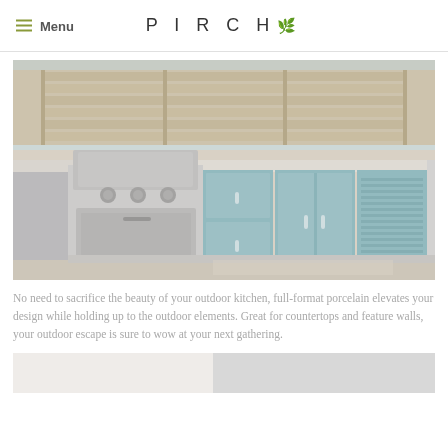Menu | PIRCH
[Figure (photo): Outdoor kitchen with stainless steel grill and teal/blue cabinetry with white countertop, wooden slat fence in background]
No need to sacrifice the beauty of your outdoor kitchen, full-format porcelain elevates your design while holding up to the outdoor elements. Great for countertops and feature walls, your outdoor escape is sure to wow at your next gathering.
[Figure (photo): Partial view of another room or space, light toned, cropped at bottom of page]